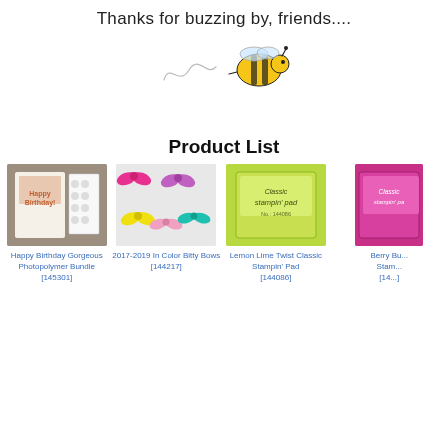Thanks for buzzing by, friends....
[Figure (illustration): Decorative bee illustration with curly trail lines and a cartoon bumblebee]
Product List
[Figure (photo): Happy Birthday Gorgeous Photopolymer Bundle stamp set product image]
Happy Birthday Gorgeous Photopolymer Bundle [145301]
[Figure (photo): 2017-2019 In Color Bitty Bows product image showing colorful ribbon bows]
2017-2019 In Color Bitty Bows [144217]
[Figure (photo): Lemon Lime Twist Classic Stampin' Pad product image]
Lemon Lime Twist Classic Stampin' Pad [144086]
[Figure (photo): Berry Burst Classic Stampin' Pad product image (partially cropped)]
Berry Bu... Stam... [14...]